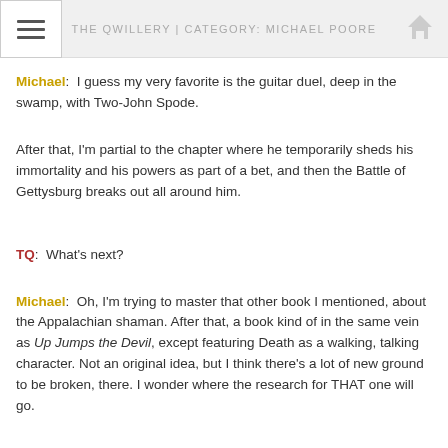THE QWILLERY | CATEGORY: MICHAEL POORE
Michael:  I guess my very favorite is the guitar duel, deep in the swamp, with Two-John Spode.
After that, I'm partial to the chapter where he temporarily sheds his immortality and his powers as part of a bet, and then the Battle of Gettysburg breaks out all around him.
TQ:  What's next?
Michael:  Oh, I'm trying to master that other book I mentioned, about the Appalachian shaman. After that, a book kind of in the same vein as Up Jumps the Devil, except featuring Death as a walking, talking character. Not an original idea, but I think there's a lot of new ground to be broken, there. I wonder where the research for THAT one will go.